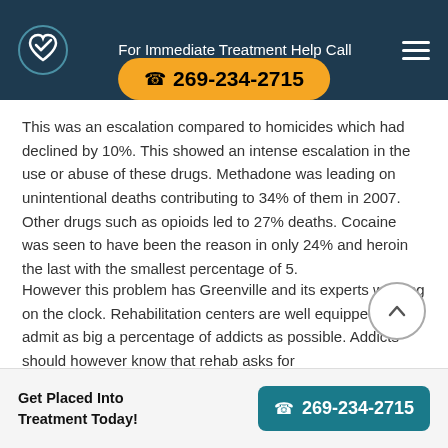For Immediate Treatment Help Call 269-234-2715
This was an escalation compared to homicides which had declined by 10%. This showed an intense escalation in the use or abuse of these drugs. Methadone was leading on unintentional deaths contributing to 34% of them in 2007. Other drugs such as opioids led to 27% deaths. Cocaine was seen to have been the reason in only 24% and heroin the last with the smallest percentage of 5.
However this problem has Greenville and its experts working on the clock. Rehabilitation centers are well equipped to admit as big a percentage of addicts as possible. Addicts should however know that rehab asks for
Get Placed Into Treatment Today! 269-234-2715